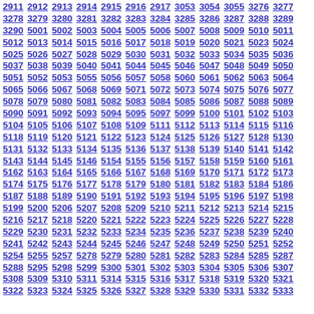2911 2912 2913 2914 2915 2916 2917 3053 3054 3055 3276 3277 3278 3279 3280 3281 3282 3283 3284 3285 3286 3287 3288 3289 3290 5001 5002 5003 5004 5005 5006 5007 5008 5009 5010 5011 5012 5013 5014 5015 5016 5017 5018 5019 5020 5021 5023 5024 5025 5026 5027 5028 5029 5030 5031 5032 5033 5034 5035 5036 5037 5038 5039 5040 5041 5044 5045 5046 5047 5048 5049 5050 5051 5052 5053 5055 5056 5057 5058 5060 5061 5062 5063 5064 5065 5066 5067 5068 5069 5071 5072 5073 5074 5075 5076 5077 5078 5079 5080 5081 5082 5083 5084 5085 5086 5087 5088 5089 5090 5091 5092 5093 5094 5095 5097 5099 5100 5101 5102 5103 5104 5105 5106 5107 5108 5109 5111 5112 5113 5114 5115 5116 5118 5119 5120 5121 5122 5123 5124 5125 5126 5127 5128 5130 5131 5132 5133 5134 5135 5136 5137 5138 5139 5140 5141 5142 5143 5144 5145 5146 5154 5155 5156 5157 5158 5159 5160 5161 5162 5163 5164 5165 5166 5167 5168 5169 5170 5171 5172 5173 5174 5175 5176 5177 5178 5179 5180 5181 5182 5183 5184 5186 5187 5188 5189 5190 5191 5192 5193 5194 5195 5196 5197 5198 5199 5200 5206 5207 5208 5209 5210 5211 5212 5213 5214 5215 5216 5217 5218 5220 5221 5222 5223 5224 5225 5226 5227 5228 5229 5230 5231 5232 5233 5234 5235 5236 5237 5238 5239 5240 5241 5242 5243 5244 5245 5246 5247 5248 5249 5250 5251 5252 5254 5255 5257 5278 5279 5280 5281 5282 5283 5284 5285 5287 5288 5295 5298 5299 5300 5301 5302 5303 5304 5305 5306 5307 5308 5309 5310 5311 5314 5315 5316 5317 5318 5319 5320 5321 5322 5323 5324 5325 5326 5327 5328 5329 5330 5331 5332 5333